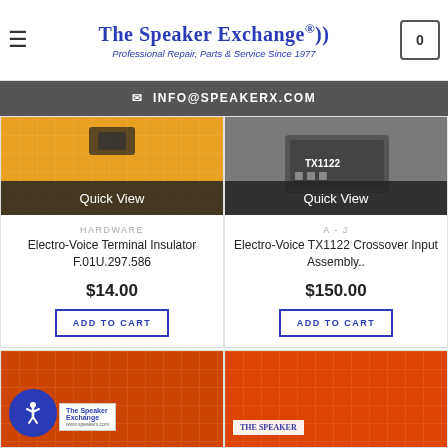The Speaker Exchange® — Professional Repair, Parts & Service Since 1977
✉ INFO@SPEAKERX.COM
[Figure (photo): Product image with orange/grid background and Quick View overlay — Electro-Voice Terminal Insulator]
HARDWARE
Electro-Voice Terminal Insulator F.01U.297.586
$14.00
ADD TO CART
[Figure (photo): Product image with dark/gray background showing TX1122 component and Quick View overlay — Electro-Voice TX1122 Crossover Input Assembly]
A - J
Electro-Voice TX1122 Crossover Input Assembly..
$150.00
ADD TO CART
[Figure (photo): Partial product image with red/orange grid background and The Speaker Exchange logo/label]
[Figure (photo): Partial product image with red/orange grid background and The Speaker Exchange branding]